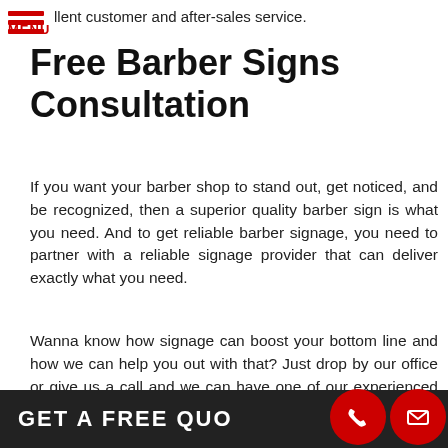llent customer and after-sales service.
Free Barber Signs Consultation
If you want your barber shop to stand out, get noticed, and be recognized, then a superior quality barber sign is what you need. And to get reliable barber signage, you need to partner with a reliable signage provider that can deliver exactly what you need.
Wanna know how signage can boost your bottom line and how we can help you out with that? Just drop by our office or give us a call and we can have one of our experienced signage specialists discuss things with you.
Call Platon Graphics today at (310) 683-2846 for your Free Consultation with a Barber Signs Expert!
[Figure (other): Dark footer bar with GET A FREE QUOTE text and red circle icons for phone and email]